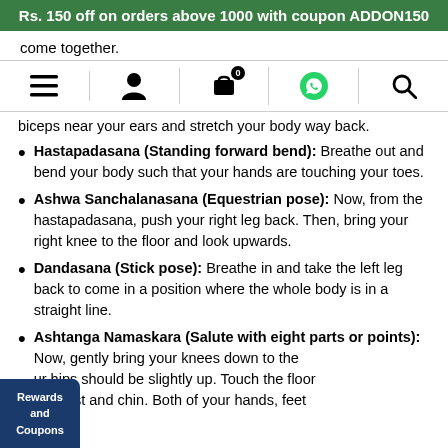Rs. 150 off on orders above 1000 with coupon ADDON150
come together.
biceps near your ears and stretch your body way back.
Hastapadasana (Standing forward bend): Breathe out and bend your body such that your hands are touching your toes.
Ashwa Sanchalanasana (Equestrian pose): Now, from the hastapadasana, push your right leg back. Then, bring your right knee to the floor and look upwards.
Dandasana (Stick pose): Breathe in and take the left leg back to come in a position where the whole body is in a straight line.
Ashtanga Namaskara (Salute with eight parts or points): Now, gently bring your knees down to the [ur hips should be slightly up. Touch the floor [ur chest and chin. Both of your hands, feet